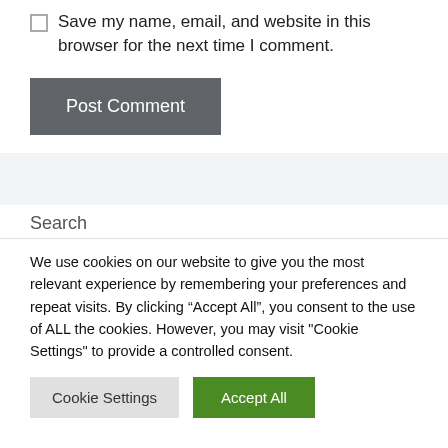Save my name, email, and website in this browser for the next time I comment.
Post Comment
Search
We use cookies on our website to give you the most relevant experience by remembering your preferences and repeat visits. By clicking “Accept All”, you consent to the use of ALL the cookies. However, you may visit "Cookie Settings" to provide a controlled consent.
Cookie Settings
Accept All